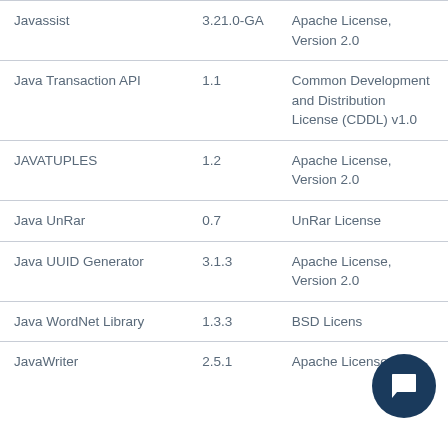| Javassist | 3.21.0-GA | Apache License, Version 2.0 |
| Java Transaction API | 1.1 | Common Development and Distribution License (CDDL) v1.0 |
| JAVATUPLES | 1.2 | Apache License, Version 2.0 |
| Java UnRar | 0.7 | UnRar License |
| Java UUID Generator | 3.1.3 | Apache License, Version 2.0 |
| Java WordNet Library | 1.3.3 | BSD License |
| JavaWriter | 2.5.1 | Apache License |